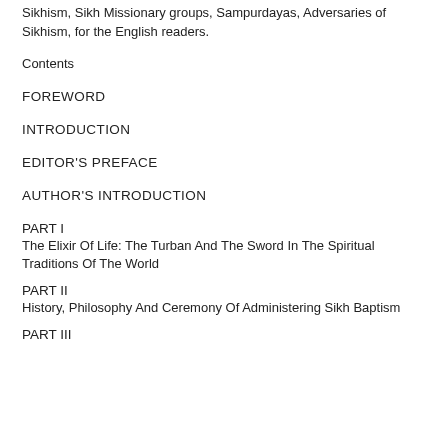Sikhism, Sikh Missionary groups, Sampurdayas, Adversaries of Sikhism, for the English readers.
Contents
FOREWORD
INTRODUCTION
EDITOR'S PREFACE
AUTHOR'S INTRODUCTION
PART I
The Elixir Of Life: The Turban And The Sword In The Spiritual Traditions Of The World
PART II
History, Philosophy And Ceremony Of Administering Sikh Baptism
PART III